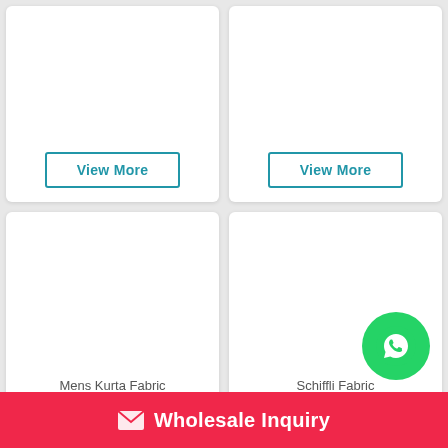[Figure (screenshot): Top-left product card with blank image area and a 'View More' button]
[Figure (screenshot): Top-right product card with blank image area and a 'View More' button]
[Figure (screenshot): Bottom-left product card with blank image area]
Mens Kurta Fabric
[Figure (screenshot): Bottom-right product card with blank image area]
Schiffli Fabric
[Figure (logo): WhatsApp circular green button with phone/chat icon]
Wholesale Inquiry